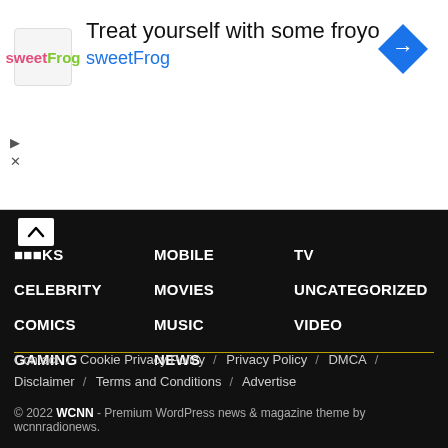[Figure (advertisement): sweetFrog frozen yogurt advertisement banner with logo, arrow icon, 'Treat yourself with some froyo' headline and sweetFrog subtitle]
BOOKS
Mobile
TV
CELEBRITY
MOVIES
Uncategorized
COMICS
MUSIC
Video
GAMING
NEWS
Contact / Cookie Privacy Policy / Privacy Policy / DMCA / Disclaimer / Terms and Conditions / Advertise
© 2022 WCNN - Premium WordPress news & magazine theme by wcnnradionews.